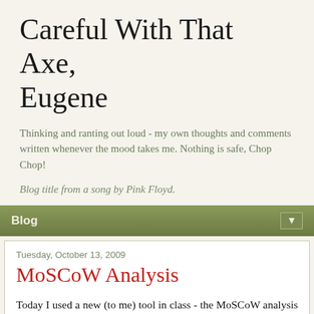Careful With That Axe, Eugene
Thinking and ranting out loud - my own thoughts and comments written whenever the mood takes me. Nothing is safe, Chop Chop!
Blog title from a song by Pink Floyd.
Blog ▼
Tuesday, October 13, 2009
MoSCoW Analysis
Today I used a new (to me) tool in class - the MoSCoW analysis technique. The capital letters in MoSCoW stand for:
M - MUST have this
S - SHOULD have this if at all possible